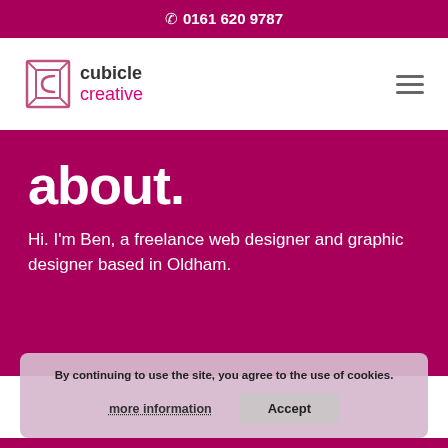0161 620 9787
[Figure (logo): Cubicle Creative logo with geometric cube-like icon and text 'cubicle creative']
about.
Hi. I'm Ben, a freelance web designer and graphic designer based in Oldham.
By continuing to use the site, you agree to the use of cookies.
more information
Accept
my mission.